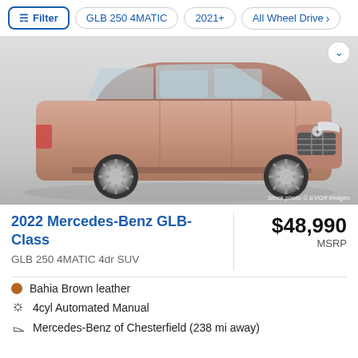Filter | GLB 250 4MATIC | 2021+ | All Wheel Drive
[Figure (photo): 2022 Mercedes-Benz GLB-Class SUV in Bahia Brown, side/front 3/4 view on gray gradient background. Stock photo © EVOX Images.]
2022 Mercedes-Benz GLB-Class
$48,990 MSRP
GLB 250 4MATIC 4dr SUV
Bahia Brown leather
4cyl Automated Manual
Mercedes-Benz of Chesterfield (238 mi away)